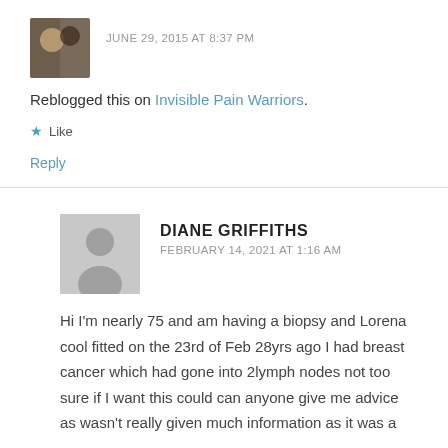JUNE 29, 2015 AT 8:37 PM
Reblogged this on Invisible Pain Warriors.
★ Like
Reply
DIANE GRIFFITHS
FEBRUARY 14, 2021 AT 1:16 AM
Hi I'm nearly 75 and am having a biopsy and Lorena cool fitted on the 23rd of Feb 28yrs ago I had breast cancer which had gone into 2lymph nodes not too sure if I want this could can anyone give me advice as wasn't really given much information as it was a